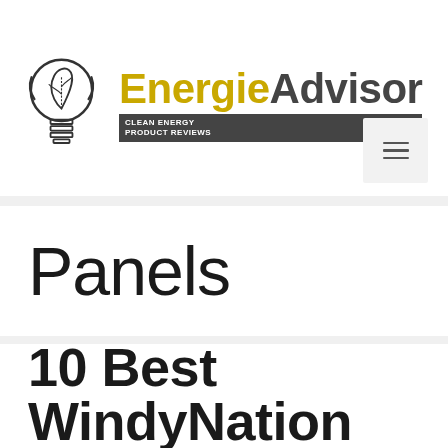[Figure (logo): EnergieAdvisor logo with lightbulb containing a leaf, brand name 'EnergieAdvisor' in gold and dark grey, tagline 'CLEAN ENERGY PRODUCT REVIEWS']
Panels
10 Best WindyNation